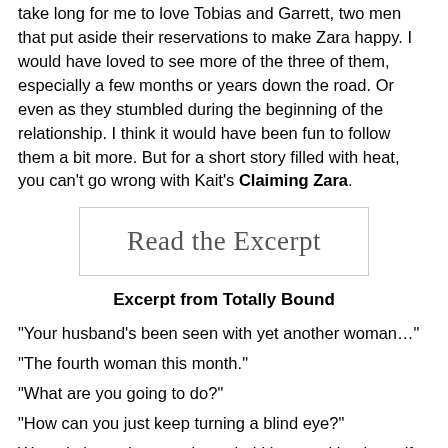take long for me to love Tobias and Garrett, two men that put aside their reservations to make Zara happy. I would have loved to see more of the three of them, especially a few months or years down the road. Or even as they stumbled during the beginning of the relationship. I think it would have been fun to follow them a bit more. But for a short story filled with heat, you can't go wrong with Kait's Claiming Zara.
[Figure (other): Button or banner image reading 'Read the Excerpt' in serif font, with light gray border]
Excerpt from Totally Bound
“Your husband’s been seen with yet another woman…”
“The fourth woman this month.”
“What are you going to do?”
“How can you just keep turning a blind eye?”
Weren’t those the questions she’d been asking herself